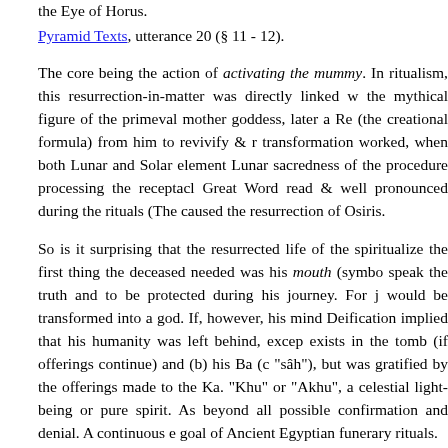the Eye of Horus. Pyramid Texts, utterance 20 (§ 11 - 12).
The core being the action of activating the mummy. In ritualism, this resurrection-in-matter was directly linked w the mythical figure of the primeval mother goddess, later a Re (the creational formula) from him to revivify & r transformation worked, when both Lunar and Solar element Lunar sacredness of the procedure processing the receptacl Great Word read & well pronounced during the rituals (The caused the resurrection of Osiris.
So is it surprising that the resurrected life of the spiritualize the first thing the deceased needed was his mouth (symbo speak the truth and to be protected during his journey. For j would be transformed into a god. If, however, his mind Deification implied that his humanity was left behind, excep exists in the tomb (if offerings continue) and (b) his Ba (c "sâh"), but was gratified by the offerings made to the Ka. "Khu" or "Akhu", a celestial light-being or pure spirit. As beyond all possible confirmation and denial. A continuous e goal of Ancient Egyptian funerary rituals.